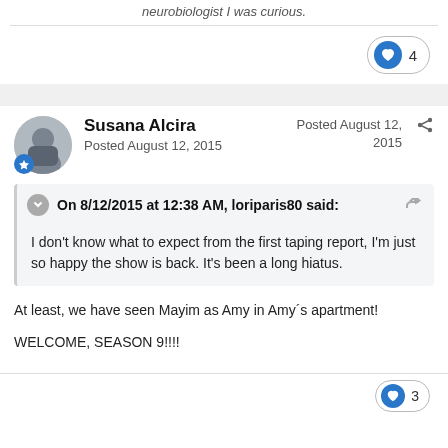neurobiologist I was curious.
Susana Alcira
Posted August 12, 2015
Posted August 12, 2015
On 8/12/2015 at 12:38 AM, loriparis80 said:
I don't know what to expect from the first taping report, I'm just so happy the show is back. It's been a long hiatus.
At least, we have seen Mayim as Amy in Amy´s apartment!

WELCOME, SEASON 9!!!!